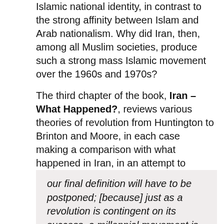Islamic national identity, in contrast to the strong affinity between Islam and Arab nationalism. Why did Iran, then, among all Muslim societies, produce such a strong mass Islamic movement over the 1960s and 1970s?
The third chapter of the book, Iran – What Happened?, reviews various theories of revolution from Huntington to Brinton and Moore, in each case making a comparison with what happened in Iran, in an attempt to answer the question, 'Is what happened in Iran a revolution?'. The chapter also discusses 'millennialist movements' and arrives at the rather strange conclusion that:
our final definition will have to be postponed; [because] just as a revolution is contingent on its success, a millennial movement is characterized by its failure, as it gives